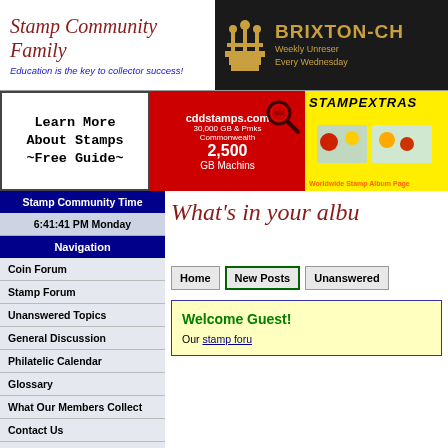[Figure (logo): Stamp Community Family logo with cursive text and tagline]
[Figure (screenshot): BRIXTON-CH banner with crown icon, Weekly Unreserved, Every Wednesday]
[Figure (screenshot): Learn More About Stamps ~Free Guide~ ad banner]
[Figure (screenshot): cddstamps.com ad with magnifying glass, 30,000+ GB & Pmks Commonwealth, 2,500 GB Machins]
[Figure (screenshot): STAMPEXTRAS ad with bird images, Worldwide Stamp Album Pages]
Stamp Community Time
6:41:41 PM Monday
Navigation
Coin Forum
Stamp Forum
Unanswered Topics
General Discussion
Philatelic Calendar
Glossary
What Our Members Collect
Contact Us
Advertise Here
SCF Reccomended
What's in your albu
Home | New Posts | Unanswered
Welcome Guest!
Our stamp foru